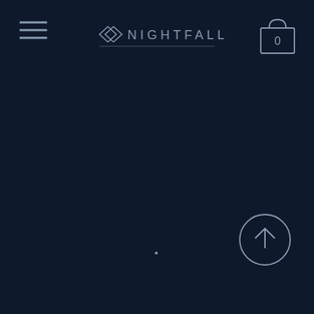[Figure (logo): Nightfall brand logo with hamburger menu icon on left, shopping bag with '0' on right, and centered logo with house/chevron icon and NIGHTFALL text with horizontal rule beneath]
[Figure (other): Scroll-to-top button: circle with upward arrow, positioned bottom-right area]